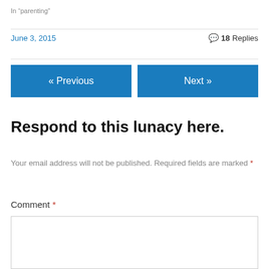In “parenting”
June 3, 2015
💬 18 Replies
« Previous
Next »
Respond to this lunacy here.
Your email address will not be published. Required fields are marked *
Comment *